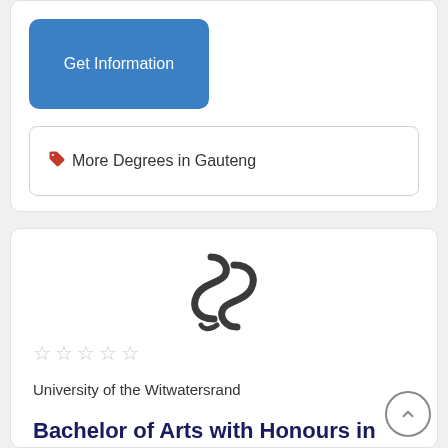Get Information
🏷 More Degrees in Gauteng
[Figure (logo): University of the Witwatersrand stylized S logo]
☆ ☆ ☆ ☆ ☆
University of the Witwatersrand
Bachelor of Arts with Honours in Labour Policy and Globalisation